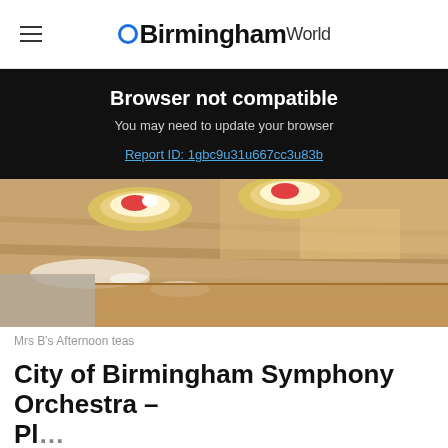BirminghamWorld
Browser not compatible
You may need to update your browser
Report ID: 1gbc9u31u667cc3u83b
[Figure (photo): Close-up photo of small round pastry tarts/cookies on a wooden board dusted with powdered sugar, with a strawberry visible inside one tart.]
Mrs B's Afternoon teas
City of Birmingham Symphony Orchestra – Pl...
[Figure (infographic): Advertisement banner showing Michelob Ultra beer can, burger image, and text 'SUMMER THE SUPERIOR WAY' with a Buy Now button.]